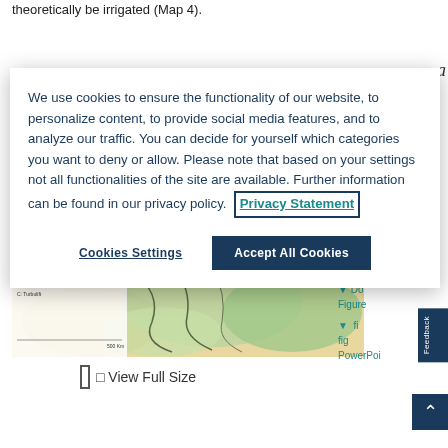theoretically be irrigated (Map 4).
We use cookies to ensure the functionality of our website, to personalize content, to provide social media features, and to analyze our traffic. You can decide for yourself which categories you want to deny or allow. Please note that based on your settings not all functionalities of the site are available. Further information can be found in our privacy policy. Privacy Statement
Cookies Settings
Accept All Cookies
[Figure (map): Partial view of a map showing irrigated areas with green and tan terrain regions]
View Full Size
10.1163/15 12341438
Do Figure
fig PowerPoi
Feedback